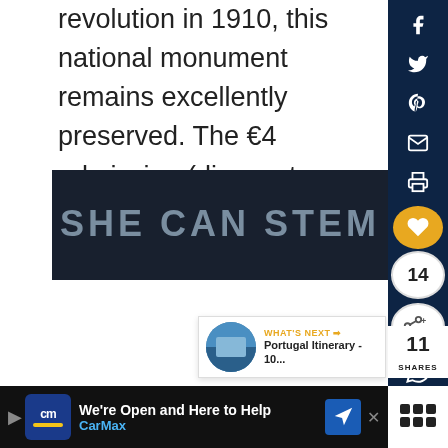revolution in 1910, this national monument remains excellently preserved. The €4 admission (discounts available) is a bargain.
[Figure (logo): SHE CAN STEM banner — dark navy background with large gray bold uppercase text reading SHE CAN STEM]
[Figure (infographic): Social sharing sidebar with icons for Facebook, Twitter, Pinterest, Email, Print, a gold heart like button with count 14, a share button, and WhatsApp icon]
[Figure (infographic): What's Next panel: thumbnail image and text 'WHAT'S NEXT → Portugal Itinerary - 10...']
11 SHARES
[Figure (infographic): Advertisement bar: CarMax logo, text 'We're Open and Here to Help' and 'CarMax', navigation icon]